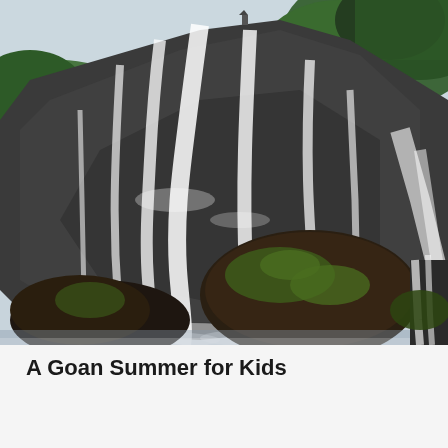[Figure (photo): A large waterfall cascading over dark rocky terrain with mossy boulders in the foreground and lush green trees on the hillside in the background against a pale grey sky. The waterfall has multiple streams of white rushing water flowing down the rock face.]
A Goan Summer for Kids